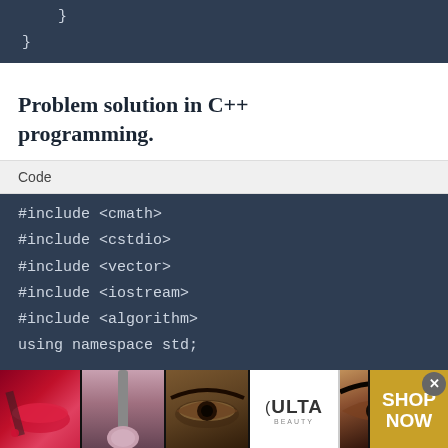[Figure (screenshot): Dark navy code block showing closing braces of a code snippet: } and }]
Problem solution in C++ programming.
Code
[Figure (screenshot): Dark navy code block with C++ include statements: #include <cmath>, #include <cstdio>, #include <vector>, #include <iostream>, #include <algorithm>, using namespace std;]
[Figure (other): Ulta Beauty advertisement banner with makeup images and SHOP NOW text]